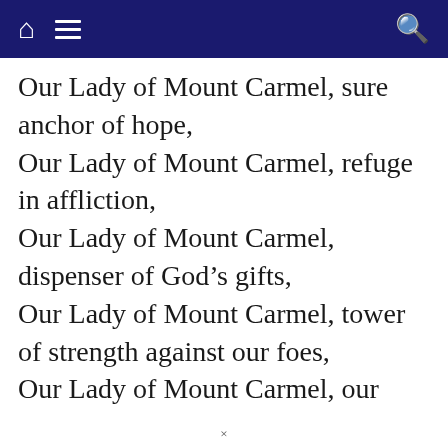Navigation bar with home, menu, and search icons
Our Lady of Mount Carmel, sure anchor of hope,
Our Lady of Mount Carmel, refuge in affliction,
Our Lady of Mount Carmel, dispenser of God’s gifts,
Our Lady of Mount Carmel, tower of strength against our foes,
Our Lady of Mount Carmel, our